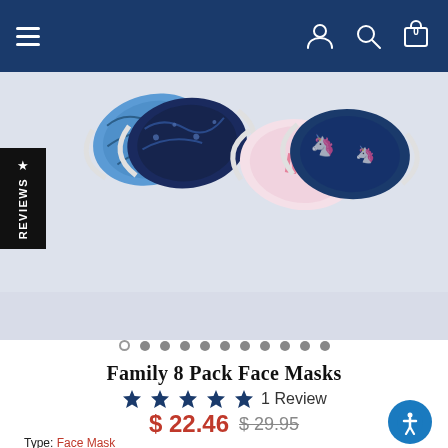[Figure (screenshot): E-commerce product page showing Family 8 Pack Face Masks with navy blue navigation bar at top, product image of masks, carousel dots, star rating, price, and product metadata.]
Family 8 Pack Face Masks
★★★★★ 1 Review
$ 22.46  $ 29.95
Type: Face Mask
SKU: ST62009-NVC-ASSORTED